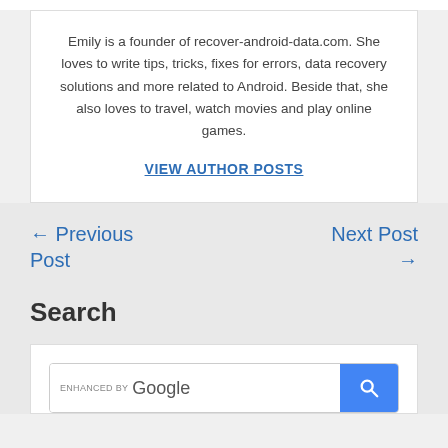Emily is a founder of recover-android-data.com. She loves to write tips, tricks, fixes for errors, data recovery solutions and more related to Android. Beside that, she also loves to travel, watch movies and play online games.
VIEW AUTHOR POSTS
← Previous Post
Next Post →
Search
[Figure (screenshot): Google enhanced search bar with a blue search button on the right]